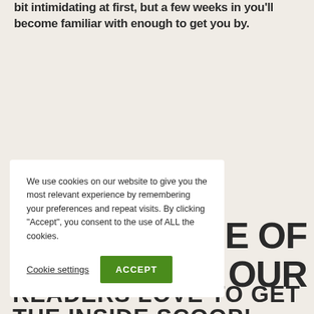bit intimidating at first, but a few weeks in you'll become familiar with enough to get you by.
We use cookies on our website to give you the most relevant experience by remembering your preferences and repeat visits. By clicking “Accept”, you consent to the use of ALL the cookies.
Cookie settings
ACCEPT
E OF
OUR
READERS LOVE TO GET THE INSIDE SCOOP!